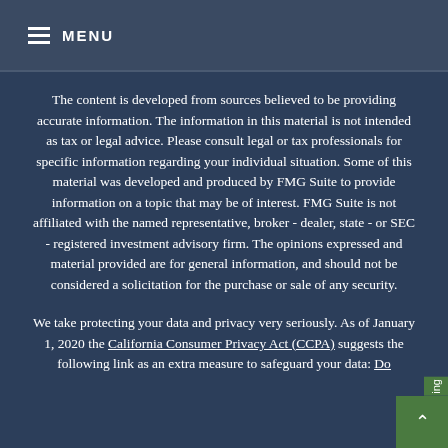MENU
The content is developed from sources believed to be providing accurate information. The information in this material is not intended as tax or legal advice. Please consult legal or tax professionals for specific information regarding your individual situation. Some of this material was developed and produced by FMG Suite to provide information on a topic that may be of interest. FMG Suite is not affiliated with the named representative, broker - dealer, state - or SEC - registered investment advisory firm. The opinions expressed and material provided are for general information, and should not be considered a solicitation for the purchase or sale of any security.
We take protecting your data and privacy very seriously. As of January 1, 2020 the California Consumer Privacy Act (CCPA) suggests the following link as an extra measure to safeguard your data: Do